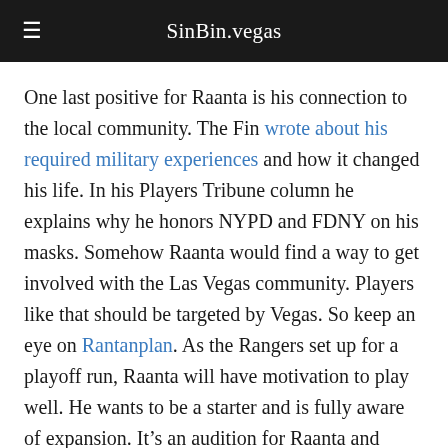SinBin.vegas
One last positive for Raanta is his connection to the local community. The Fin wrote about his required military experiences and how it changed his life. In his Players Tribune column he explains why he honors NYPD and FDNY on his masks. Somehow Raanta would find a way to get involved with the Las Vegas community. Players like that should be targeted by Vegas. So keep an eye on Rantanplan. As the Rangers set up for a playoff run, Raanta will have motivation to play well. He wants to be a starter and is fully aware of expansion. It’s an audition for Raanta and Vegas scouts are Blake and Adam.